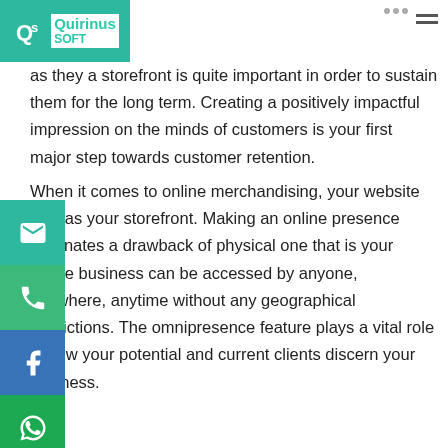Quirinus Soft
as they a storefront is quite important in order to sustain them for the long term. Creating a positively impactful impression on the minds of customers is your first major step towards customer retention.
When it comes to online merchandising, your website acts as your storefront. Making an online presence eliminates a drawback of physical one that is your online business can be accessed by anyone, anywhere, anytime without any geographical restrictions. The omnipresence feature plays a vital role in how your potential and current clients discern your business.
A well-designed website helps in numerous ways to influence your client's perception of your business and inducing them to buy products or services. A seamless and accessible website shows your customers that they are your utmost priority on top of everything. Customers can assume the